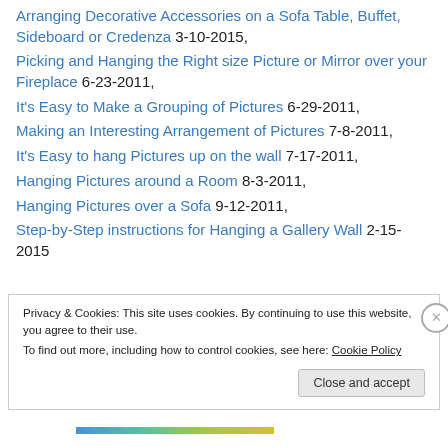Arranging Decorative Accessories on a Sofa Table, Buffet, Sideboard or Credenza 3-10-2015,
Picking and Hanging the Right size Picture or Mirror over your Fireplace 6-23-2011,
It's Easy to Make a Grouping of Pictures 6-29-2011,
Making an Interesting Arrangement of Pictures 7-8-2011,
It's Easy to hang Pictures up on the wall 7-17-2011,
Hanging Pictures around a Room 8-3-2011,
Hanging Pictures over a Sofa 9-12-2011,
Step-by-Step instructions for Hanging a Gallery Wall 2-15-2015
Privacy & Cookies: This site uses cookies. By continuing to use this website, you agree to their use. To find out more, including how to control cookies, see here: Cookie Policy